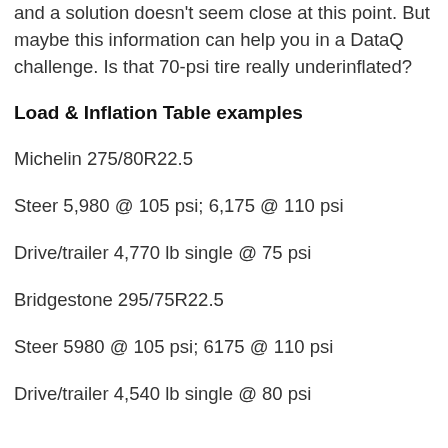and a solution doesn't seem close at this point. But maybe this information can help you in a DataQ challenge. Is that 70-psi tire really underinflated?
Load & Inflation Table examples
Michelin 275/80R22.5
Steer 5,980 @ 105 psi; 6,175 @ 110 psi
Drive/trailer 4,770 lb single @ 75 psi
Bridgestone 295/75R22.5
Steer 5980 @ 105 psi; 6175 @ 110 psi
Drive/trailer 4,540 lb single @ 80 psi